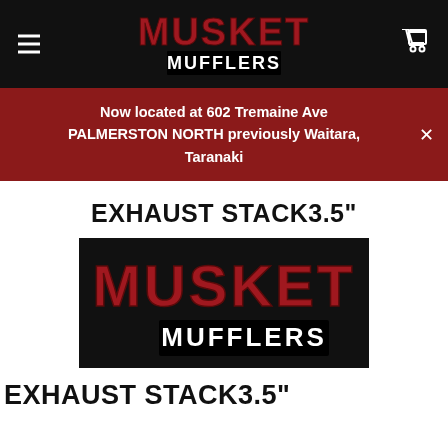Musket Mufflers — navigation bar with hamburger menu and cart icon
Now located at 602 Tremaine Ave PALMERSTON NORTH previously Waitara, Taranaki
EXHAUST STACK3.5"
[Figure (logo): Musket Mufflers logo on black background — red stylized MUSKET text above white MUFFLERS text on black rectangle]
EXHAUST STACK3.5"